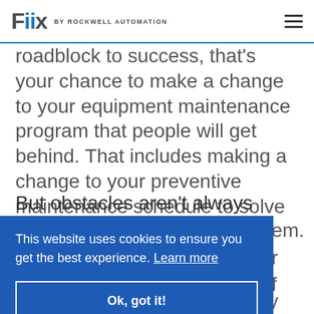Fiix BY ROCKWELL AUTOMATION
roadblock to success, that's your chance to make a change to your equipment maintenance program that people will get behind. That includes making a change to your preventive maintenance schedule to solve that pain.
But obstacles aren't always obvious.
em. r f
This website uses cookies to ensure you get the best experience. Learn more
Ok, got it!
schedule once a year or every six months.